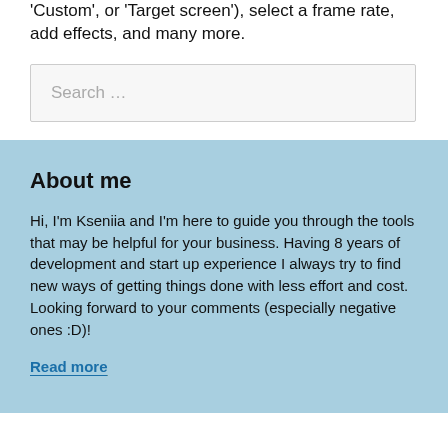'Custom', or 'Target screen'), select a frame rate, add effects, and many more.
Search …
About me
Hi, I'm Kseniia and I'm here to guide you through the tools that may be helpful for your business. Having 8 years of development and start up experience I always try to find new ways of getting things done with less effort and cost. Looking forward to your comments (especially negative ones :D)!
Read more